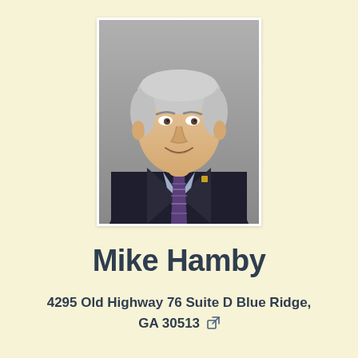[Figure (photo): Headshot of Mike Hamby, an older man with white/gray hair, wearing a dark blazer, light blue collared shirt, and purple striped tie. Smiling, professional photo with gray background.]
Mike Hamby
4295 Old Highway 76 Suite D Blue Ridge, GA 30513